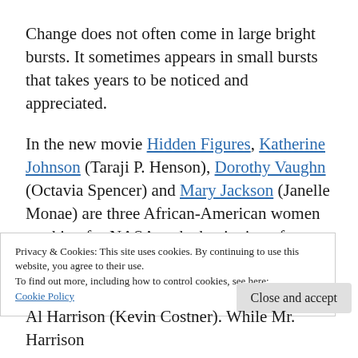Change does not often come in large bright bursts. It sometimes appears in small bursts that takes years to be noticed and appreciated.
In the new movie Hidden Figures, Katherine Johnson (Taraji P. Henson), Dorothy Vaughn (Octavia Spencer) and Mary Jackson (Janelle Monae) are three African-American women working for NASA at the beginning of 1960's. Like most of America at that time, NASA is
Privacy & Cookies: This site uses cookies. By continuing to use this website, you agree to their use.
To find out more, including how to control cookies, see here:
Cookie Policy
Close and accept
Al Harrison (Kevin Costner). While Mr. Harrison